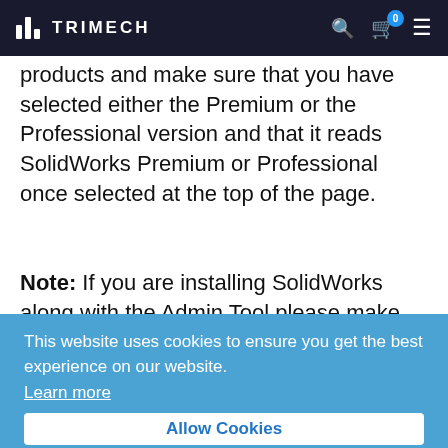TRIMECH
products and make sure that you have selected either the Premium or the Professional version and that it reads SolidWorks Premium or Professional once selected at the top of the page.
Note: If you are installing SolidWorks along with the Admin Tool please make sure those necessary boxes are also checked from the list.
This website uses cookies to ensure you get the best experience on our website. Learn more
Allow Cookies
[Figure (screenshot): SolidWorks 2016 installer window showing product selection screen with navigation panel on the left showing Welcome and Serial Number, and main area showing Product Selection - Select products to install.]